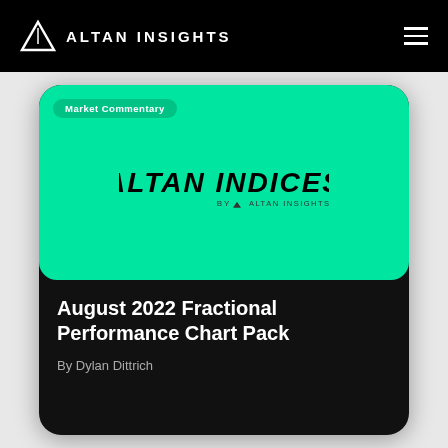ALTAN INSIGHTS
[Figure (logo): Altan Insights website header with logo and hamburger menu on black background, featuring a card with green background showing 'Market Commentary' badge and 'ALTAN INDICES by Altan Insights' logo]
August 2022 Fractional Performance Chart Pack
By Dylan Dittrich